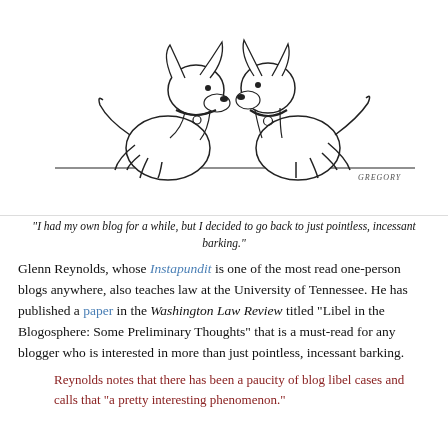[Figure (illustration): A New Yorker-style cartoon of two dogs sitting facing each other. One dog on the left faces right, the other on the right faces left. Both wear collars. Artist signature 'GREGORY' appears in the lower right of the cartoon panel. Below the drawing is a caption in italic text.]
"I had my own blog for a while, but I decided to go back to just pointless, incessant barking."
Glenn Reynolds, whose Instapundit is one of the most read one-person blogs anywhere, also teaches law at the University of Tennessee. He has published a paper in the Washington Law Review titled "Libel in the Blogosphere: Some Preliminary Thoughts" that is a must-read for any blogger who is interested in more than just pointless, incessant barking.
Reynolds notes that there has been a paucity of blog libel cases and calls that "a pretty interesting phenomenon."